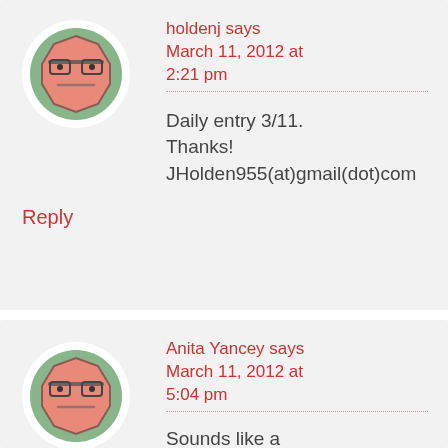[Figure (illustration): Cartoon avatar icon: octagonal face with glasses, salmon/pink color on green circular background, white outer circle]
holdenj says March 11, 2012 at 2:21 pm
Daily entry 3/11. Thanks! JHolden955(at)gmail(dot)com
Reply
[Figure (illustration): Cartoon avatar icon: octagonal face with glasses, salmon/pink color on green circular background, white outer circle]
Anita Yancey says March 11, 2012 at 5:04 pm
Sounds like a very good read. I